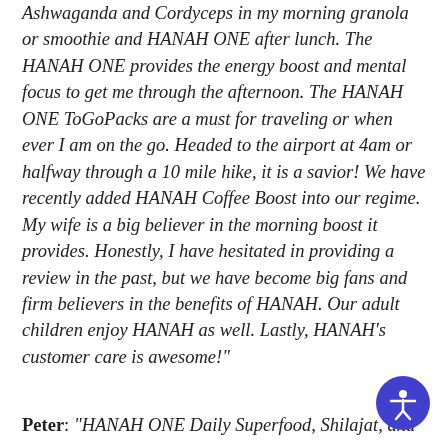Ashwaganda and Cordyceps in my morning granola or smoothie and HANAH ONE after lunch. The HANAH ONE provides the energy boost and mental focus to get me through the afternoon. The HANAH ONE ToGoPacks are a must for traveling or when ever I am on the go. Headed to the airport at 4am or halfway through a 10 mile hike, it is a savior! We have recently added HANAH Coffee Boost into our regime. My wife is a big believer in the morning boost it provides. Honestly, I have hesitated in providing a review in the past, but we have become big fans and firm believers in the benefits of HANAH. Our adult children enjoy HANAH as well. Lastly, HANAH's customer care is awesome!"
Peter: "HANAH ONE Daily Superfood, Shilajat, and...